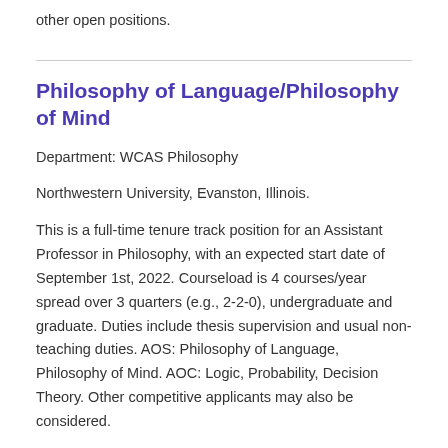other open positions.
Philosophy of Language/Philosophy of Mind
Department: WCAS Philosophy
Northwestern University, Evanston, Illinois.
This is a full-time tenure track position for an Assistant Professor in Philosophy, with an expected start date of September 1st, 2022. Courseload is 4 courses/year spread over 3 quarters (e.g., 2-2-0), undergraduate and graduate. Duties include thesis supervision and usual non-teaching duties. AOS: Philosophy of Language, Philosophy of Mind. AOC: Logic, Probability, Decision Theory. Other competitive applicants may also be considered.